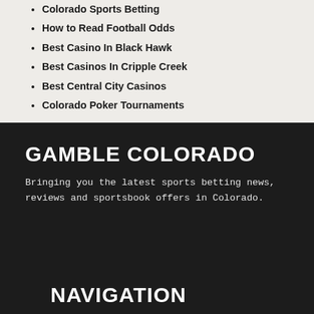Colorado Sports Betting
How to Read Football Odds
Best Casino In Black Hawk
Best Casinos In Cripple Creek
Best Central City Casinos
Colorado Poker Tournaments
GAMBLE COLORADO
Bringing you the latest sports betting news, reviews and sportsbook offers in Colorado.
NAVIGATION